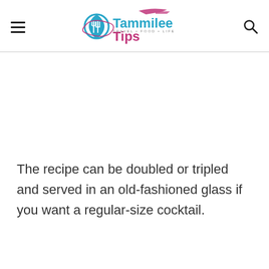Tammilee Tips — TRAVEL + FOOD + LIFE
The recipe can be doubled or tripled and served in an old-fashioned glass if you want a regular-size cocktail.